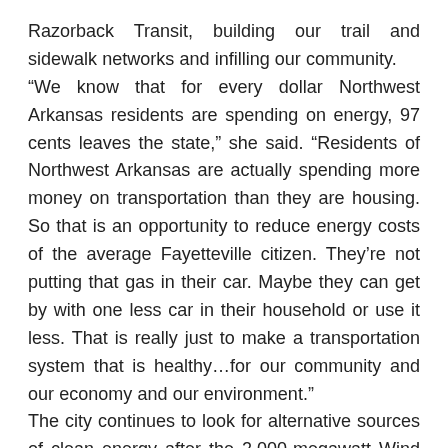Razorback Transit, building our trail and sidewalk networks and infilling our community.
“We know that for every dollar Northwest Arkansas residents are spending on energy, 97 cents leaves the state,” she said. “Residents of Northwest Arkansas are actually spending more money on transportation than they are housing. So that is an opportunity to reduce energy costs of the average Fayetteville citizen. They’re not putting that gas in their car. Maybe they can get by with one less car in their household or use it less. That is really just to make a transportation system that is healthy…for our community and our economy and our environment.”
The city continues to look for alternative sources of clean energy after the 2,000-megawatt Wind Catcher project was canceled in 2018 after the Public Utility Commission of Texas denied it. Recently, Southwestern Electric Power Co., a utility company of Columbus, Ohio-based American Electric Power (AEP), started to seek proposals for up to